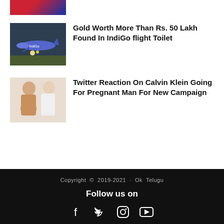[Figure (photo): Sports photo thumbnail (partial, cropped at top)]
[Figure (photo): IndiGo airplane on tarmac at night]
Gold Worth More Than Rs. 50 Lakh Found In IndiGo flight Toilet
[Figure (photo): Two people posing for Calvin Klein campaign, one shirtless with visible pregnant belly]
Twitter Reaction On Calvin Klein Going For Pregnant Man For New Campaign
Copyright © 2019-2021 · Ok Telugu
Follow us on
Follow us on
[Figure (infographic): Social media icons: Facebook, Twitter, Instagram, YouTube]